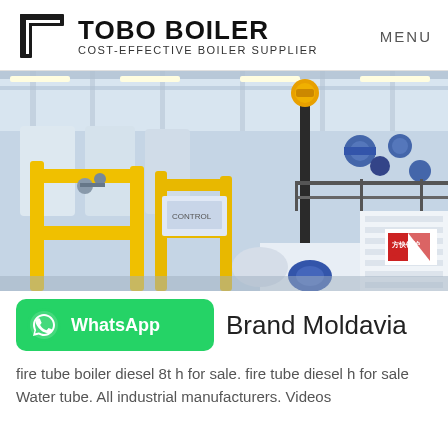TOBO BOILER COST-EFFECTIVE BOILER SUPPLIER | MENU
[Figure (photo): Industrial boiler factory floor showing multiple large boilers with yellow pipe frames, blue valves and fittings, white cylindrical boiler bodies, and a branded red logo visible on the side panel. Overhead structure and fluorescent lighting visible.]
WhatsApp  Brand Moldavia
fire tube boiler diesel 8t h for sale. fire tube diesel h for sale Water tube. All industrial manufacturers. Videos